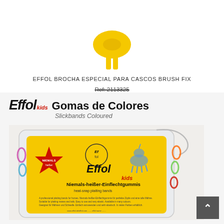[Figure (photo): Yellow equestrian hoof brush product (Effol Brocha Especial Para Cascos Brush Fix), partially visible at top]
EFFOL BROCHA ESPECIAL PARA CASCOS BRUSH FIX
Ref: 2113325
[Figure (photo): Effol Kids Gomas de Colores / Slickbands Coloured product - a clear plastic bag containing colorful elastic bands with Effol Kids branding, yellow packaging visible inside showing a unicorn and star logo, text 'Niemals-heißer-Einflechtgummis']
Effol Kids Gomas de Colores Slickbands Coloured